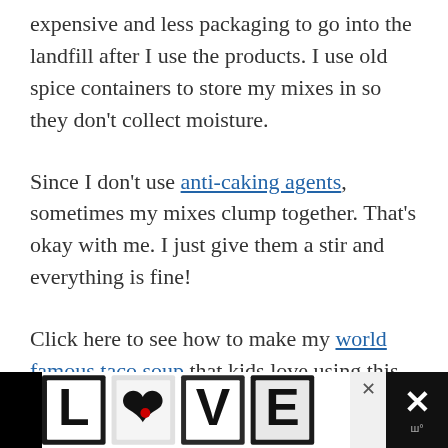expensive and less packaging to go into the landfill after I use the products. I use old spice containers to store my mixes in so they don't collect moisture.
Since I don't use anti-caking agents, sometimes my mixes clump together. That's okay with me. I just give them a stir and everything is fine!
Click here to see how to make my world famous taco soup that kids love using this mix. And you can even do taco soup kits and taco soup in a jar with it.
[Figure (other): Advertisement banner at the bottom showing 'LOVE' text in decorative typography with a close button (×) and a dark panel with X icon on the right.]